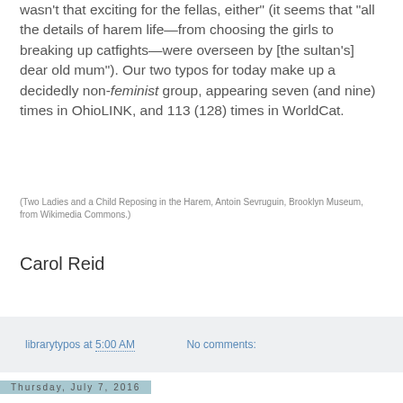wasn't that exciting for the fellas, either" (it seems that "all the details of harem life—from choosing the girls to breaking up catfights—were overseen by [the sultan's] dear old mum"). Our two typos for today make up a decidedly non-feminist group, appearing seven (and nine) times in OhioLINK, and 113 (128) times in WorldCat.
(Two Ladies and a Child Reposing in the Harem, Antoin Sevruguin, Brooklyn Museum, from Wikimedia Commons.)
Carol Reid
librarytypos at 5:00 AM    No comments:
Thursday, July 7, 2016
Molestor* (for Molester*)
[Figure (photo): Book cover for 'The Mark' showing dark silhouettes of figures]